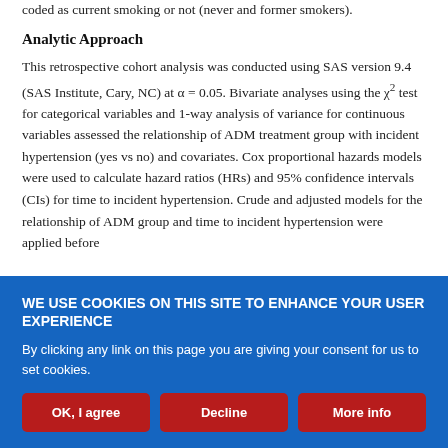coded as current smoking or not (never and former smokers).
Analytic Approach
This retrospective cohort analysis was conducted using SAS version 9.4 (SAS Institute, Cary, NC) at α = 0.05. Bivariate analyses using the χ² test for categorical variables and 1-way analysis of variance for continuous variables assessed the relationship of ADM treatment group with incident hypertension (yes vs no) and covariates. Cox proportional hazards models were used to calculate hazard ratios (HRs) and 95% confidence intervals (CIs) for time to incident hypertension. Crude and adjusted models for the relationship of ADM group and time to incident hypertension were applied before
WE USE COOKIES ON THIS SITE TO ENHANCE YOUR USER EXPERIENCE
By clicking any link on this page you are giving your consent for us to set cookies.
OK, I agree | Decline | More info